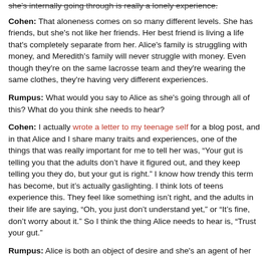she's internally going through is really a lonely experience.
Cohen: That aloneness comes on so many different levels. She has friends, but she's not like her friends. Her best friend is living a life that's completely separate from her. Alice's family is struggling with money, and Meredith's family will never struggle with money. Even though they're on the same lacrosse team and they're wearing the same clothes, they're having very different experiences.
Rumpus: What would you say to Alice as she's going through all of this? What do you think she needs to hear?
Cohen: I actually wrote a letter to my teenage self for a blog post, and in that Alice and I share many traits and experiences, one of the things that was really important for me to tell her was, “Your gut is telling you that the adults don’t have it figured out, and they keep telling you they do, but your gut is right.” I know how trendy this term has become, but it’s actually gaslighting. I think lots of teens experience this. They feel like something isn’t right, and the adults in their life are saying, “Oh, you just don’t understand yet,” or “It’s fine, don’t worry about it.” So I think the thing Alice needs to hear is, “Trust your gut.”
Rumpus: Alice is both an object of desire and she's an agent of her